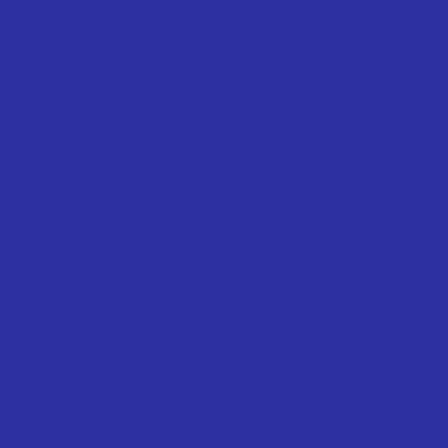| Year | Name1 | Name2 |
| --- | --- | --- |
| 1982 | Shannon | Por... |
| 1983 | Gerlinde Shannon | Lou... Por... |
| 1984 | Gerlinde Shannon | Lou... Por... |
| 1985 | Louise Porinsky | Hel... Boe... |
| 1986 | Louise Porinsky | Hel... Boe... |
| 1987 | Louise Porinsky | Hel... Boe... |
| 1988 | Louise Porinsky | Em... Rem... |
| 1989 | Louise Porinsky | Em... Rem... |
| 1990 | Louise Porinsky | Em... Rem... |
| 1991 | Carole Lukas | Em... Rem... |